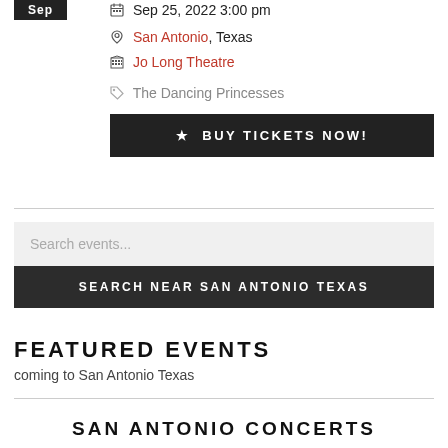[Figure (other): Sep badge - dark background with white 'Sep' text]
Sep 25, 2022 3:00 pm
San Antonio, Texas
Jo Long Theatre
The Dancing Princesses
★ BUY TICKETS NOW!
Search events...
SEARCH NEAR SAN ANTONIO TEXAS
FEATURED EVENTS
coming to San Antonio Texas
SAN ANTONIO CONCERTS